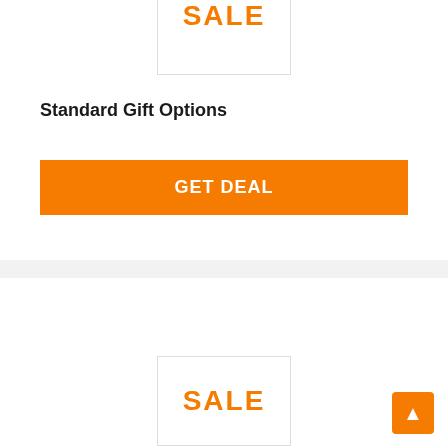[Figure (other): SALE badge/label image partially visible at top of first card]
Standard Gift Options
GET DEAL
[Figure (other): SALE badge/label image partially visible in second card]
[Figure (other): Back-to-top arrow button in bottom right corner]